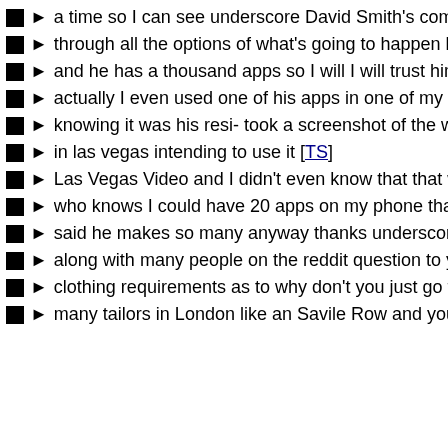a time so I can see underscore David Smith's comment on t
through all the options of what's going to happen he is a ver
and he has a thousand apps so I will I will trust him here so
actually I even used one of his apps in one of my videos jus
knowing it was his resi- took a screenshot of the weather ap
in las vegas intending to use it [TS]
Las Vegas Video and I didn't even know that that was an un
who knows I could have 20 apps on my phone that are unde
said he makes so many anyway thanks underscore David S
along with many people on the reddit question to you in rega
clothing requirements as to why don't you just go to a tailor h
many tailors in London like an Savile Row and you can just